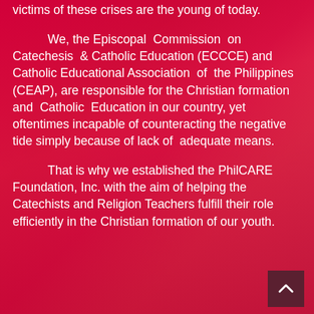victims of these crises are the young of today.
We, the Episcopal Commission on Catechesis & Catholic Education (ECCCE) and Catholic Educational Association of the Philippines (CEAP), are responsible for the Christian formation and Catholic Education in our country, yet oftentimes incapable of counteracting the negative tide simply because of lack of adequate means.
That is why we established the PhilCARE Foundation, Inc. with the aim of helping the Catechists and Religion Teachers fulfill their role efficiently in the Christian formation of our youth.